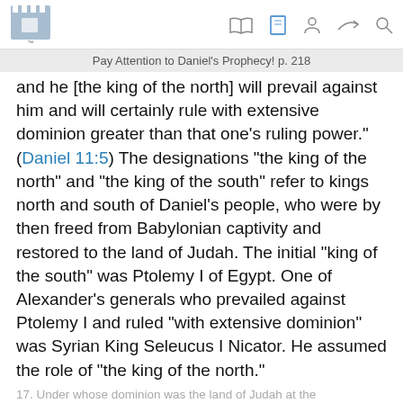Pay Attention to Daniel’s Prophecy! p. 218
and he [the king of the north] will prevail against him and will certainly rule with extensive dominion greater than that one’s ruling power.” (Daniel 11:5) The designations “the king of the north” and “the king of the south” refer to kings north and south of Daniel’s people, who were by then freed from Babylonian captivity and restored to the land of Judah. The initial “king of the south” was Ptolemy I of Egypt. One of Alexander’s generals who prevailed against Ptolemy I and ruled “with extensive dominion” was Syrian King Seleucus I Nicator. He assumed the role of “the king of the north.”
17. Under whose dominion was the land of Judah at the onset of the conflict between the king of the north and the king of the south?
17.